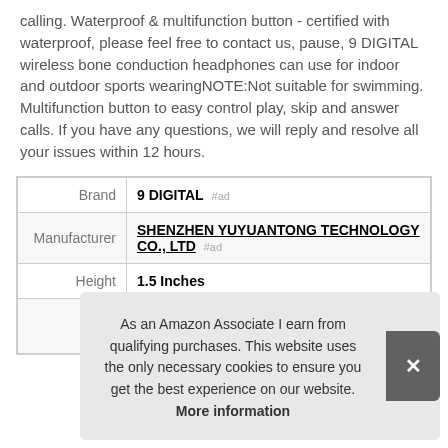calling. Waterproof & multifunction button - certified with waterproof, please feel free to contact us, pause, 9 DIGITAL wireless bone conduction headphones can use for indoor and outdoor sports wearingNOTE:Not suitable for swimming. Multifunction button to easy control play, skip and answer calls. If you have any questions, we will reply and resolve all your issues within 12 hours.
|  |  |
| --- | --- |
| Brand | 9 DIGITAL #ad |
| Manufacturer | SHENZHEN YUYUANTONG TECHNOLOGY CO., LTD #ad |
| Height | 1.5 Inches |
As an Amazon Associate I earn from qualifying purchases. This website uses the only necessary cookies to ensure you get the best experience on our website. More information